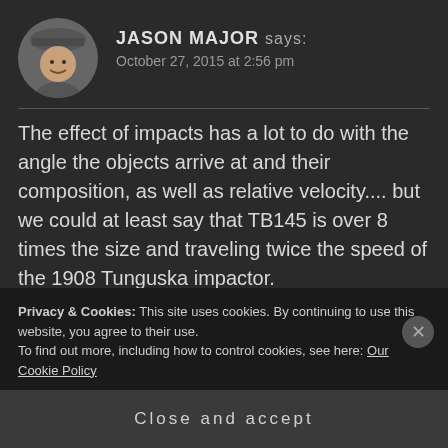[Figure (photo): Circular avatar photo of a man smiling, wearing a grey hat, outdoors with a building in background]
JASON MAJOR says:
October 27, 2015 at 2:56 pm
The effect of impacts has a lot to do with the angle the objects arrive at and their composition, as well as relative velocity.... but we could at least say that TB145 is over 8 times the size and traveling twice the speed of the 1908 Tunguska impactor.
Privacy & Cookies: This site uses cookies. By continuing to use this website, you agree to their use.
To find out more, including how to control cookies, see here: Our Cookie Policy
Close and accept